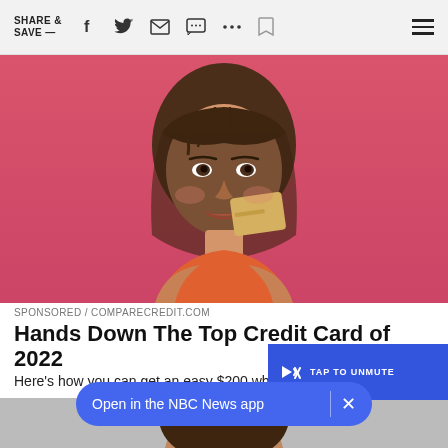SHARE & SAVE —
[Figure (photo): Young woman with dark hair and bangs smiling and holding a gold/beige credit card near her face against a bright pink background]
SPONSORED / COMPARECREDIT.COM
Hands Down The Top Credit Card of 2022
Here's how you can get an easy $200 wh... you spend $500
[Figure (screenshot): Blue video overlay box with TAP TO UNMUTE text and speaker icon with X, and close X button]
[Figure (photo): Partial bottom photo strip]
Open in the NBC News app